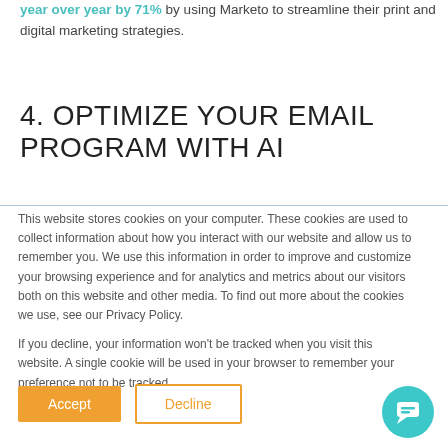year over year by 71% by using Marketo to streamline their print and digital marketing strategies.
4. OPTIMIZE YOUR EMAIL PROGRAM WITH AI
This website stores cookies on your computer. These cookies are used to collect information about how you interact with our website and allow us to remember you. We use this information in order to improve and customize your browsing experience and for analytics and metrics about our visitors both on this website and other media. To find out more about the cookies we use, see our Privacy Policy.
If you decline, your information won't be tracked when you visit this website. A single cookie will be used in your browser to remember your preference not to be tracked.
Accept
Decline